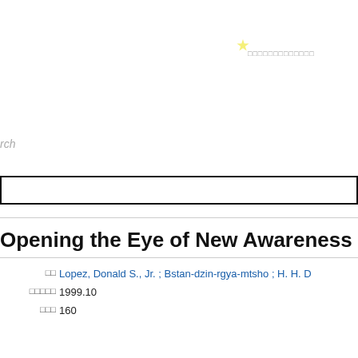[Figure (other): Small yellow star icon in the upper-right area of the page]
□□□□□□□□□□□□□
rch
Opening the Eye of New Awareness
| □□ | Lopez, Donald S., Jr. ; Bstan-dzin-rgya-mtsho ; H. H. D |
| □□□□□ | 1999.10 |
| □□□ | 160 |